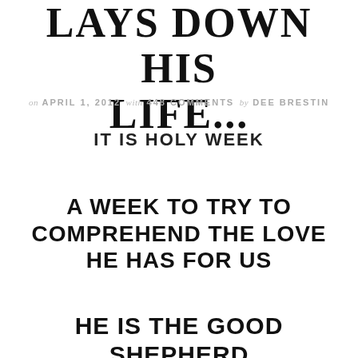LAYS DOWN HIS LIFE...
on APRIL 1, 2012   with 448 COMMENTS   by DEE BRESTIN
IT IS HOLY WEEK
A WEEK TO TRY TO COMPREHEND THE LOVE HE HAS FOR US
HE IS THE GOOD SHEPHERD